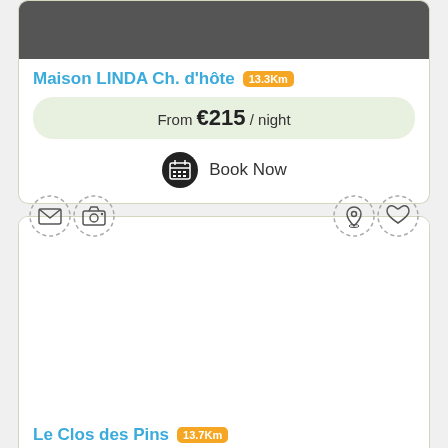[Figure (photo): Top portion of property image (dark/grey background, partially visible)]
Maison LINDA Ch. d'hôte 13.3Km
From €215 / night
Book Now
[Figure (illustration): Icon row with mail, camera, location pin, and heart icons in dashed circles]
[Figure (photo): White/blank property image area for Le Clos des Pins]
Le Clos des Pins 13.7Km
From €55 / night